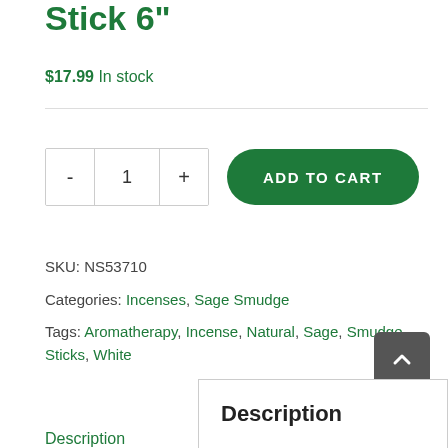Stick 6"
$17.99 In stock
SKU: NS53710
Categories: Incenses, Sage Smudge
Tags: Aromatherapy, Incense, Natural, Sage, Smudge, Sticks, White
Description
Description